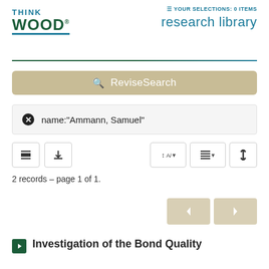[Figure (logo): Think Wood logo with THINK in blue and WOOD in dark green with blue underline]
YOUR SELECTIONS: 0 ITEMS
research library
ReviseSearch
name:"Ammann, Samuel"
2 records – page 1 of 1.
Investigation of the Bond Quality